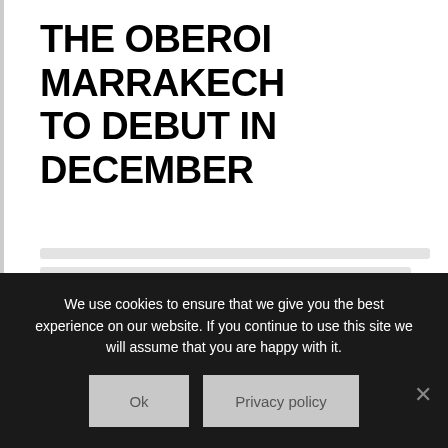THE OBEROI MARRAKECH TO DEBUT IN DECEMBER
[blurred/obscured article body text]
We use cookies to ensure that we give you the best experience on our website. If you continue to use this site we will assume that you are happy with it.